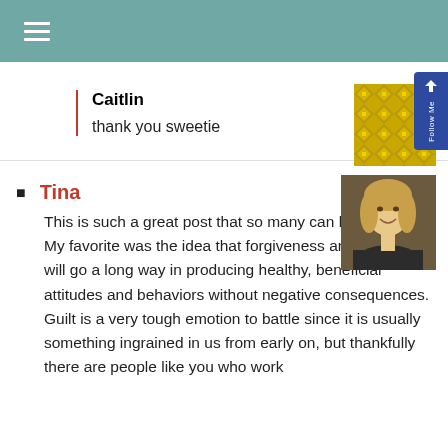≡
Caitlin
thank you sweetie
[Figure (illustration): Gold geometric quilt-pattern avatar icon]
Tina
This is such a great post that so many can benefit from. My favorite was the idea that forgiveness and positivity will go a long way in producing healthy, beneficial attitudes and behaviors without negative consequences. Guilt is a very tough emotion to battle since it is usually something ingrained in us from early on, but thankfully there are people like you who work
[Figure (photo): Photo of a smiling woman with blonde hair]